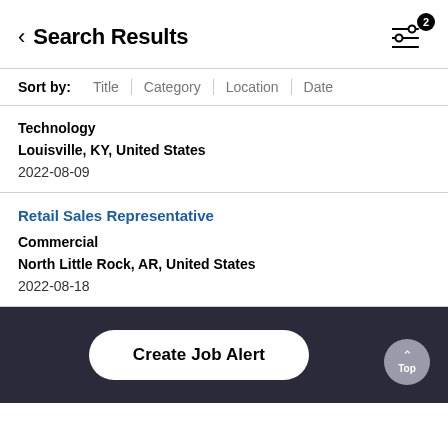Search Results
Sort by: Title | Category | Location | Date
Technology
Louisville, KY, United States
2022-08-09
Retail Sales Representative
Commercial
North Little Rock, AR, United States
2022-08-18
Retail Sales Representative
Commercial
Create Job Alert